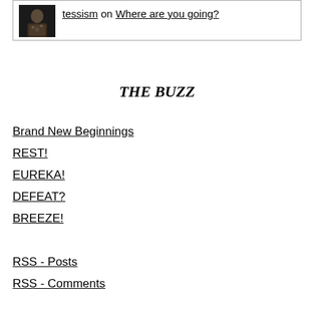[Figure (photo): Small thumbnail photo of a person in a floral/patterned top]
tessism on Where are you going?
THE BUZZ
Brand New Beginnings
REST!
EUREKA!
DEFEAT?
BREEZE!
RSS - Posts
RSS - Comments